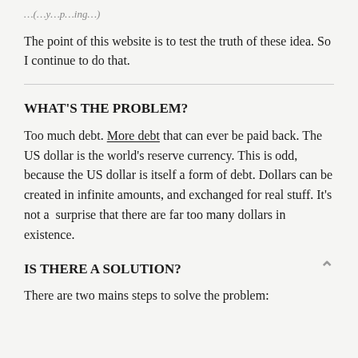...( ... y ... p ... ing ...)
The point of this website is to test the truth of these idea. So I continue to do that.
WHAT'S THE PROBLEM?
Too much debt. More debt that can ever be paid back. The US dollar is the world's reserve currency. This is odd, because the US dollar is itself a form of debt. Dollars can be created in infinite amounts, and exchanged for real stuff. It's not a  surprise that there are far too many dollars in existence.
IS THERE A SOLUTION?
There are two mains steps to solve the problem: